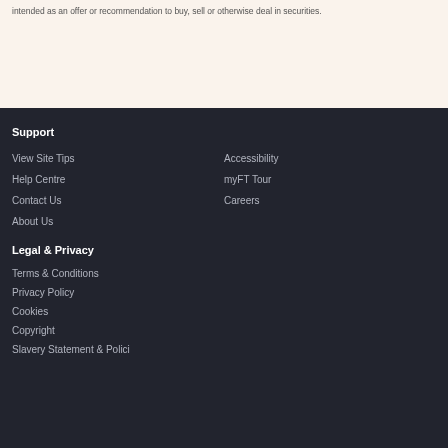intended as an offer or recommendation to buy, sell or otherwise deal in securities.
Support
View Site Tips
Accessibility
Help Centre
myFT Tour
Contact Us
Careers
About Us
Legal & Privacy
Terms & Conditions
Privacy Policy
Cookies
Copyright
Slavery Statement & Policies